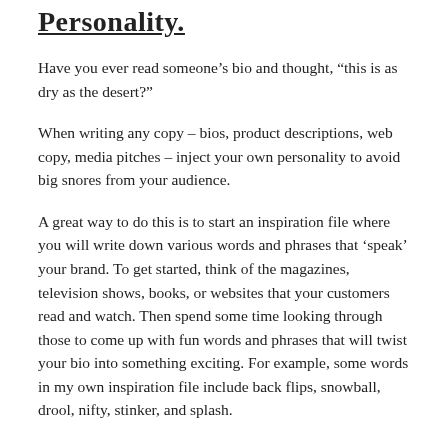Personality.
Have you ever read someone’s bio and thought, “this is as dry as the desert?”
When writing any copy – bios, product descriptions, web copy, media pitches – inject your own personality to avoid big snores from your audience.
A great way to do this is to start an inspiration file where you will write down various words and phrases that ‘speak’ your brand. To get started, think of the magazines, television shows, books, or websites that your customers read and watch. Then spend some time looking through those to come up with fun words and phrases that will twist your bio into something exciting. For example, some words in my own inspiration file include back flips, snowball, drool, nifty, stinker, and splash.